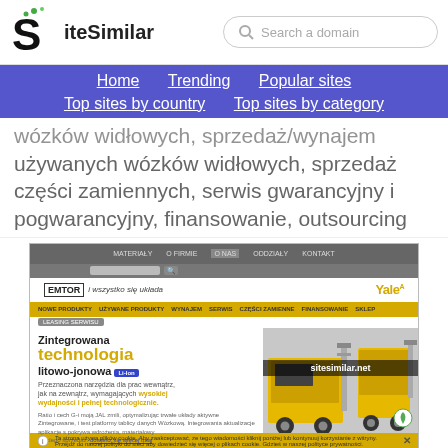[Figure (logo): SiteSimilar logo with stylized S and green dots]
Search a domain
Home   Trending   Popular sites   Top sites by country   Top sites by category
wózków widłowych, sprzedaż/wynajem używanych wózków widłowych, sprzedaż części zamiennych, serwis gwarancyjny i pogwarancyjny, finansowanie, outsourcing
[Figure (screenshot): Screenshot of emtor.pl website showing EMTOR forklift dealer with Yale branding, Zintegrowana technologia litowo-jonowa content, yellow navigation bar, and sitesimilar.net watermark]
emtor.pl similar sites